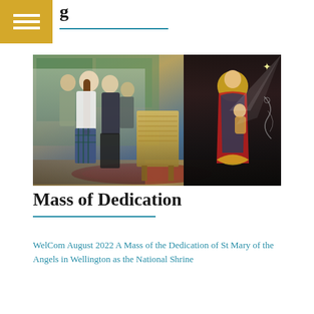Mass of Dedication
[Figure (photo): School students in uniforms gathered around a woven flax altar covering inside a church, with an icon of Madonna and Child visible on a dark panel to the right.]
Mass of Dedication
WelCom August 2022 A Mass of the Dedication of St Mary of the Angels in Wellington as the National Shrine